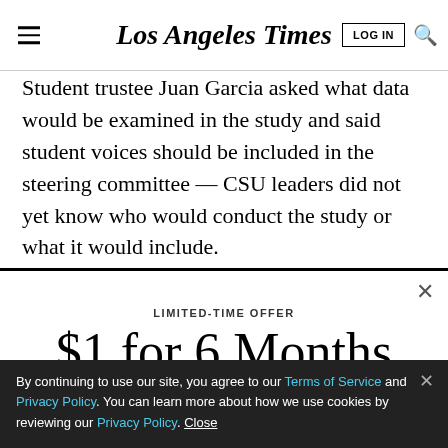Los Angeles Times
Student trustee Juan Garcia asked what data would be examined in the study and said student voices should be included in the steering committee — CSU leaders did not yet know who would conduct the study or what it would include.
LIMITED-TIME OFFER
$1 for 6 Months
SUBSCRIBE NOW
By continuing to use our site, you agree to our Terms of Service and Privacy Policy. You can learn more about how we use cookies by reviewing our Privacy Policy. Close